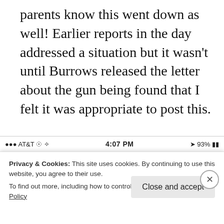parents know this went down as well! Earlier reports in the day addressed a situation but it wasn't until Burrows released the letter about the gun being found that I felt it was appropriate to post this.
[Figure (screenshot): Mobile phone status bar showing AT&T carrier, 4:07 PM time, and 93% battery]
Privacy & Cookies: This site uses cookies. By continuing to use this website, you agree to their use.
To find out more, including how to control cookies, see here: Cookie Policy
Close and accept